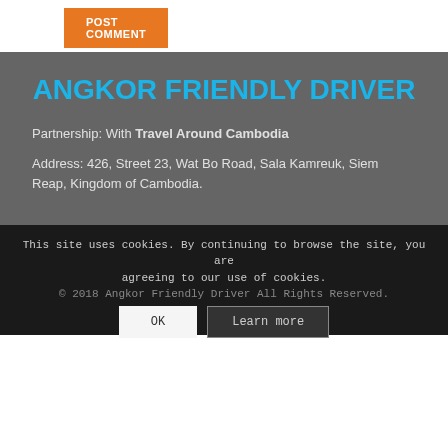POST COMMENT
ANGKOR FRIENDLY DRIVER
Partnership: With Travel Around Cambodia
Address: 426, Street 23, Wat Bo Road, Sala Kamreuk, Siem Reap, Kingdom of Cambodia.
This site uses cookies. By continuing to browse the site, you are agreeing to our use of cookies.
© 2018 Angkor Friendly Driver All Rights Reserved.